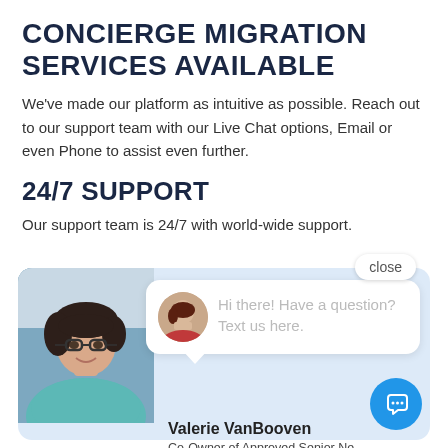CONCIERGE MIGRATION SERVICES AVAILABLE
We've made our platform as intuitive as possible. Reach out to our support team with our Live Chat options, Email or even Phone to assist even further.
24/7 SUPPORT
Our support team is 24/7 with world-wide support.
[Figure (screenshot): Live chat widget showing an agent photo (Valerie VanBooven, Co-Owner of Approved Senior Network Marketing), a small avatar, a chat bubble saying 'Hi there! Have a question? Text us here.', a close button, and a blue chat icon button.]